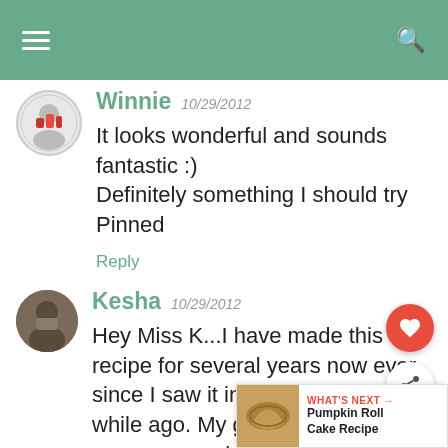[Figure (screenshot): Green navigation header bar with hamburger menu icon on left and search icon on right]
Winnie 10/29/2012
It looks wonderful and sounds fantastic :)
Definitely something I should try
Pinned
Reply
Kesha 10/29/2012
Hey Miss K...I have made this recipe for several years now ever since I saw it in he while ago. My grandmother gave me an old church